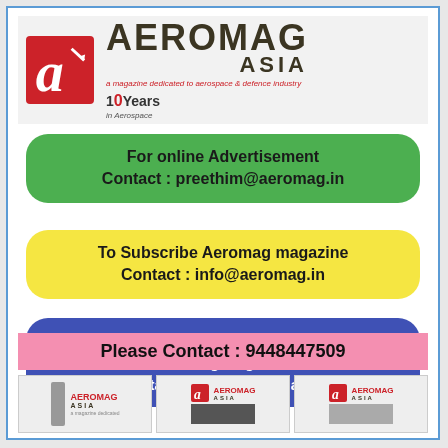[Figure (logo): Aeromag Asia logo with red 'a' icon, bold AEROMAG ASIA text, tagline 'a magazine dedicated to aerospace & defence industry', and '10 Years in Aerospace' badge]
For online Advertisement
Contact : preethim@aeromag.in
To Subscribe Aeromag magazine
Contact : info@aeromag.in
For Advertisement / Articles in
Aeromag magazine
Contact : editor@aeromag.in
Please Contact : 9448447509
[Figure (logo): Three small Aeromag Asia magazine cover thumbnails at the bottom of the page]